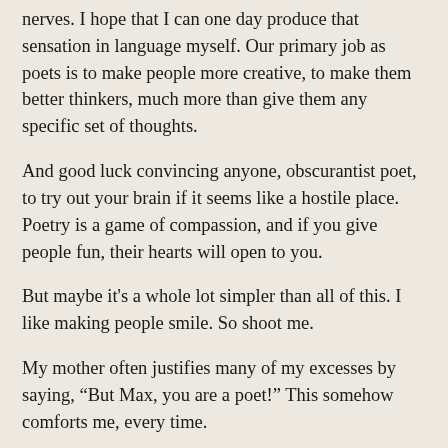nerves. I hope that I can one day produce that sensation in language myself. Our primary job as poets is to make people more creative, to make them better thinkers, much more than give them any specific set of thoughts.
And good luck convincing anyone, obscurantist poet, to try out your brain if it seems like a hostile place. Poetry is a game of compassion, and if you give people fun, their hearts will open to you.
But maybe it's a whole lot simpler than all of this. I like making people smile. So shoot me.
My mother often justifies many of my excesses by saying, “But Max, you are a poet!” This somehow comforts me, every time.
...
But I do believe in distance. And a belief in distance requires, for me at least, an attempt to span that distance, no matter how futile I understand those attempts to be.